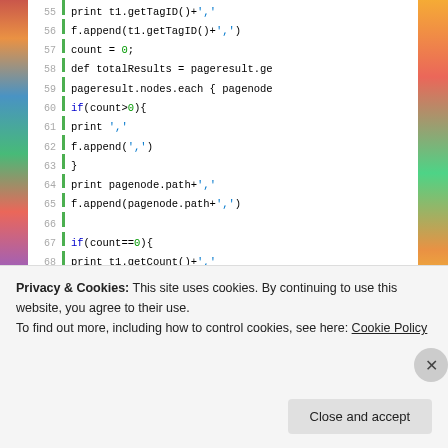[Figure (screenshot): Code editor screenshot showing lines 55-77 of source code with line numbers, green vertical bar, syntax highlighted code in black/blue/green on white background, with colorful blurred photo strips on left and right edges.]
Privacy & Cookies: This site uses cookies. By continuing to use this website, you agree to their use.
To find out more, including how to control cookies, see here: Cookie Policy
Close and accept